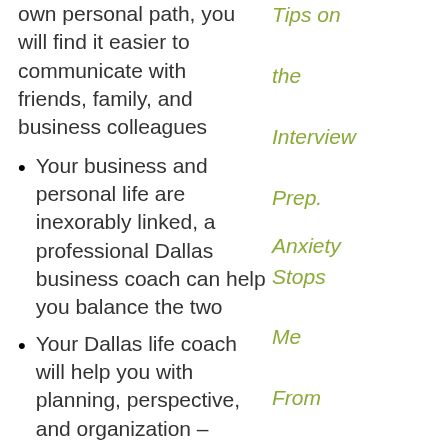own personal path, you will find it easier to communicate with friends, family, and business colleagues
Your business and personal life are inexorably linked, a professional Dallas business coach can help you balance the two
Your Dallas life coach will help you with planning, perspective, and organization – essential qualities for success
Be excited about life, focus on your future, and live the life you want
Tips on the Interview Prep.
Anxiety Stops Me From Achieving My Goals
How to accomplish all the things